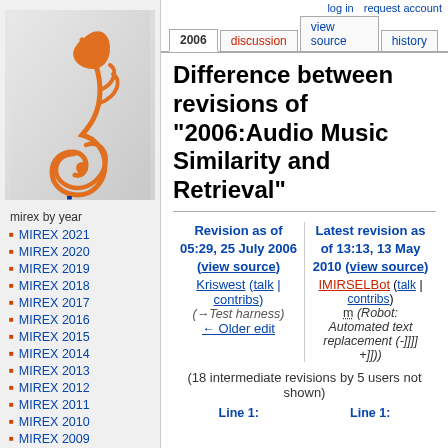[Figure (logo): MIREX logo with orange treble clef and blue 'mirex' text]
mirex by year
MIREX 2021
MIREX 2020
MIREX 2019
MIREX 2018
MIREX 2017
MIREX 2016
MIREX 2015
MIREX 2014
MIREX 2013
MIREX 2012
MIREX 2011
MIREX 2010
MIREX 2009
MIREX 2008
MIREX 2007
log in   request account
Difference between revisions of "2006:Audio Music Similarity and Retrieval"
Revision as of 05:29, 25 July 2006 (view source) Kriswest (talk | contribs) (→Test harness) ← Older edit
Latest revision as of 13:13, 13 May 2010 (view source) IMIRSELBot (talk | contribs) m (Robot: Automated text replacement (-]]]] +]]))
(18 intermediate revisions by 5 users not shown)
Line 1:  Line 1: